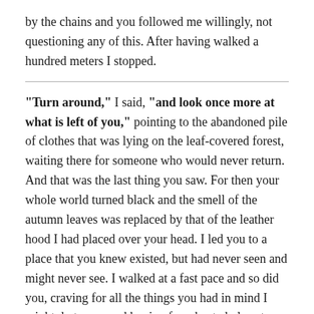by the chains and you followed me willingly, not questioning any of this. After having walked a hundred meters I stopped.
“Turn around,” I said, “and look once more at what is left of you,” pointing to the abandoned pile of clothes that was lying on the leaf-covered forest, waiting there for someone who would never return. And that was the last thing you saw. For then your whole world turned black and the smell of the autumn leaves was replaced by that of the leather hood I had placed over your head. I led you to a place that you knew existed, but had never seen and might never see. I walked at a fast pace and so did you, craving for all the things you had in mind I might do to you and hoping for a heated place to warm your already freezing body – not knowing you weren’t getting any of these for a long, long time.
As we finally reached my wooden cabin, I lead you to a room that was all but warm and chained you to the bed posts with your arms and legs widely spread. The linen of the bed you were forced to lie on combined unpleasantly with the cold that was spreading